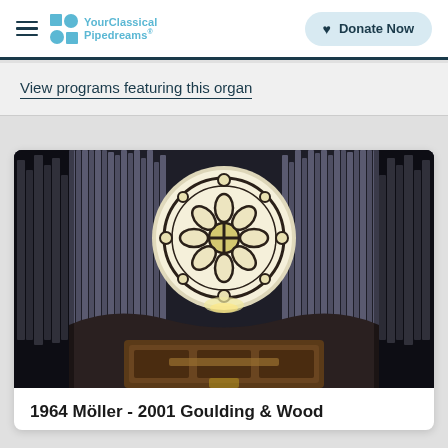YourClassical Pipedreams — Donate Now
View programs featuring this organ
[Figure (photo): Large pipe organ with a rose window stained glass above the pipes, inside a cathedral or church. The organ has numerous tall metal pipes arranged symmetrically, with a wooden console below.]
1964 Möller - 2001 Goulding & Wood